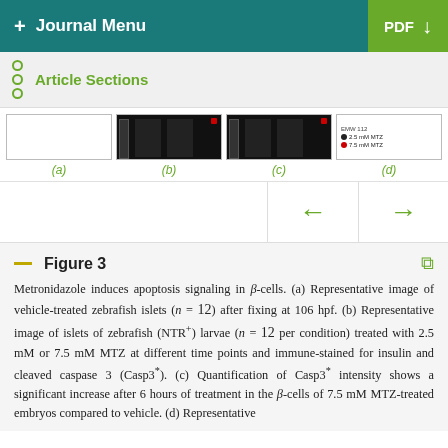+ Journal Menu   PDF ↓
Article Sections
[Figure (photo): Four-panel figure strip showing zebrafish islet images (a, b, c) and a legend (d) with 2.5 mM MTZ and 7.5 mM MTZ labels]
(a)   (b)   (c)   (d)
Figure 3
Metronidazole induces apoptosis signaling in β-cells. (a) Representative image of vehicle-treated zebrafish islets (n = 12) after fixing at 106 hpf. (b) Representative image of islets of zebrafish (NTR⁺) larvae (n = 12 per condition) treated with 2.5 mM or 7.5 mM MTZ at different time points and immunestained for insulin and cleaved caspase 3 (Casp3*). (c) Quantification of Casp3* intensity shows a significant increase after 6 hours of treatment in the β-cells of 7.5 mM MTZ-treated embryos compared to vehicle. (d) Representative